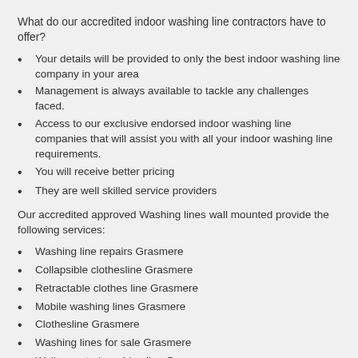What do our accredited indoor washing line contractors have to offer?
Your details will be provided to only the best indoor washing line company in your area
Management is always available to tackle any challenges faced.
Access to our exclusive endorsed indoor washing line companies that will assist you with all your indoor washing line requirements.
You will receive better pricing
They are well skilled service providers
Our accredited approved Washing lines wall mounted provide the following services:
Washing line repairs Grasmere
Collapsible clothesline Grasmere
Retractable clothes line Grasmere
Mobile washing lines Grasmere
Clothesline Grasmere
Washing lines for sale Grasmere
Wall mounted washing line Grasmere
Indoor washing line Grasmere
Washing line suppliers Grasmere
Washing line Grasmere
Rotating washing line Grasmere
Washing line supply Grasmere
Wall hung washing line Grasmere
Wash lines Grasmere